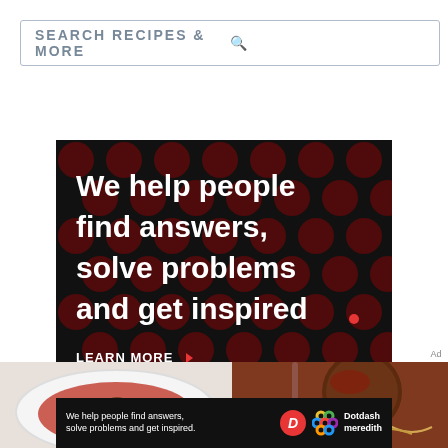[Figure (screenshot): Search bar with text SEARCH RECIPES & MORE and a magnifying glass icon on the right]
[Figure (infographic): Black banner ad with dark red polka dot pattern background. Large white bold text reads: We help people find answers, solve problems and get inspired. Below is LEARN MORE with arrow. Bottom right shows Dotdash D logo (red circle) and Meredith colorful knot logo.]
[Figure (photo): Two food photos side by side: left shows meatballs in tomato sauce on a white plate (top-down view); right shows a close-up of meatballs with sauce.]
[Figure (infographic): Bottom black ad bar showing We help people find answers, solve problems and get inspired. with Dotdash D logo and Meredith colorful logo and Dotdash Meredith text.]